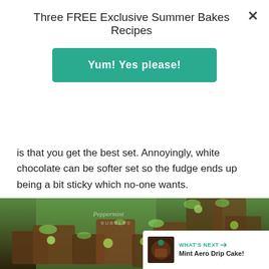Three FREE Exclusive Summer Bakes Recipes
Yum! Yes please!
is that you get the best set. Annoyingly, white chocolate can be softer set so the fudge ends up being a bit sticky which no-one wants.
[Figure (photo): Photo of chocolate peppermint fudge pieces with green mint Aero bubbles on top, with a Peppermint Bubbles bag in the background. A teal heart icon with count 11 and a share icon are overlaid on the right. A 'What's Next' bar shows Mint Aero Drip Cake.]
WHAT'S NEXT → Mint Aero Drip Cake!